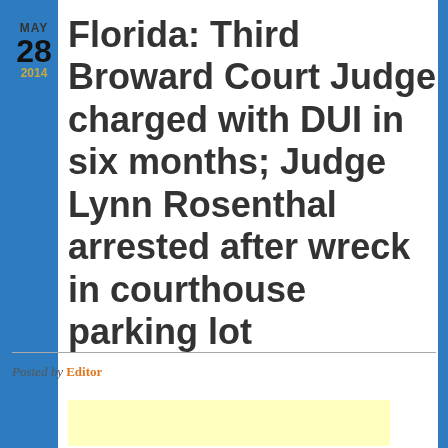MAY 28 2014
Florida: Third Broward Court Judge charged with DUI in six months; Judge Lynn Rosenthal arrested after wreck in courthouse parking lot
Posted by Editor
[Figure (other): Yellow advertisement block placeholder]